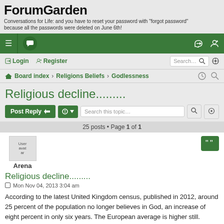ForumGarden
Conversations for Life: and you have to reset your password with "forgot password" because all the passwords were deleted on June 6th!
[Figure (screenshot): Green navigation bar with hamburger menu, speech bubble icon, login and register icons on right]
Login  Register  Search...
Board index › Religions Beliefs › Godlessness
Religious decline.........
Post Reply  Tools  Search this topic...  25 posts • Page 1 of 1
Arena
Religious decline.........
Mon Nov 04, 2013 3:04 am
According to the latest United Kingdom census, published in 2012, around 25 percent of the population no longer believes in God, an increase of eight percent in only six years. The European average is higher still. Scandinavians, for example, with their atheist majorities, have traversed